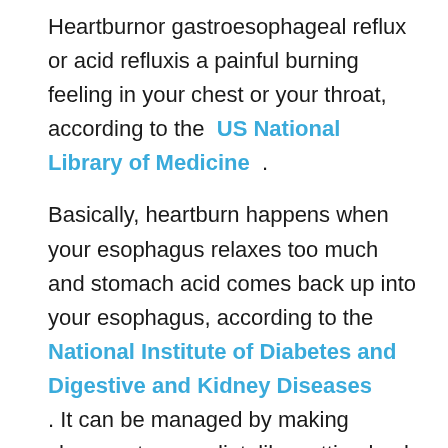Heartburnor gastroesophageal reflux or acid refluxis a painful burning feeling in your chest or your throat, according to the US National Library of Medicine .
Basically, heartburn happens when your esophagus relaxes too much and stomach acid comes back up into your esophagus, according to the National Institute of Diabetes and Digestive and Kidney Diseases . It can be managed by making changes to your diet, like cutting back on coffee and alcohol, or through medications.
Having heartburn every once in a while, like after a spicy meal or taking a nap too soon after eating, is normal but if it occurs more than twice a week for more than a few weeks, it's time to see a doctorin that case, you could have gastroesophageal reflux disease , a chronic, sometimes damaging form of heartburn.